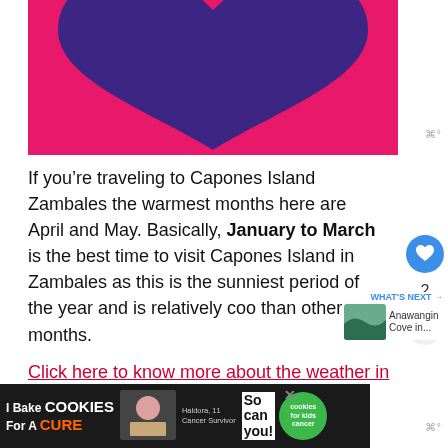[Figure (illustration): Hot pink background with a large dark purple heart shape in the center, partial view — lower half of the image showing the heart bottom point.]
If you're traveling to Capones Island Zambales the warmest months here are April and May. Basically, January to March is the best time to visit Capones Island in Zambales as this is the sunniest period of the year and is relatively coo than other months.
Click here to know more about the weather in Za...
[Figure (photo): What's Next thumbnail — Anawangin Cove in...]
[Figure (other): Advertisement banner: I Bake COOKIES For A CURE - Haldora, 11 Cancer Survivor. So can you! Cookies for kids cancer.]